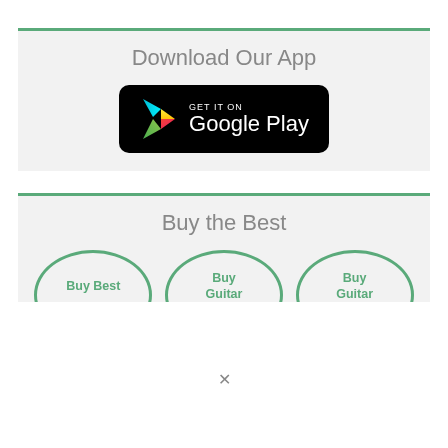Download Our App
[Figure (logo): GET IT ON Google Play button (black rounded rectangle with colorful play triangle logo)]
Buy the Best
[Figure (infographic): Three semicircle icons labeled 'Buy Best', 'Buy Guitar', and 'Buy Guitar' arranged in a row, cut off at bottom]